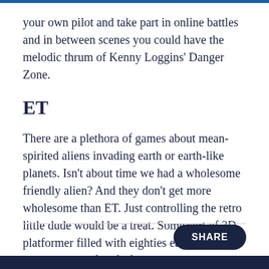your own pilot and take part in online battles and in between scenes you could have the melodic thrum of Kenny Loggins’ Danger Zone.
ET
There are a plethora of games about mean-spirited aliens invading earth or earth-like planets. Isn’t about time we had a wholesome friendly alien? And they don’t get more wholesome than ET. Just controlling the retro little dude would be a treat. Some sort of 3D platformer filled with eighties easter eggs would be a perfect fit for this mainstream classic.